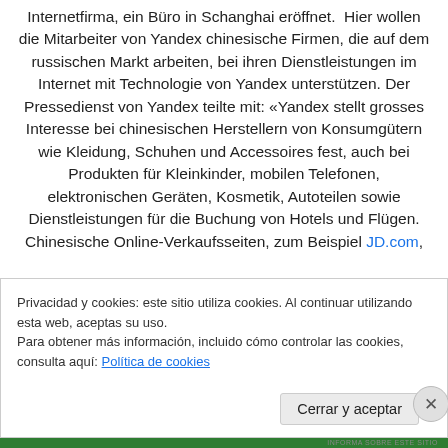Internetfirma, ein Büro in Schanghai eröffnet. Hier wollen die Mitarbeiter von Yandex chinesische Firmen, die auf dem russischen Markt arbeiten, bei ihren Dienstleistungen im Internet mit Technologie von Yandex unterstützen. Der Pressedienst von Yandex teilte mit: «Yandex stellt grosses Interesse bei chinesischen Herstellern von Konsumgütern wie Kleidung, Schuhen und Accessoires fest, auch bei Produkten für Kleinkinder, mobilen Telefonen, elektronischen Geräten, Kosmetik, Autoteilen sowie Dienstleistungen für die Buchung von Hotels und Flügen. Chinesische Online-Verkaufsseiten, zum Beispiel JD.com,
Privacidad y cookies: este sitio utiliza cookies. Al continuar utilizando esta web, aceptas su uso. Para obtener más información, incluido cómo controlar las cookies, consulta aquí: Política de cookies
Cerrar y aceptar
INFORMA SOBRE ESTE SITIO